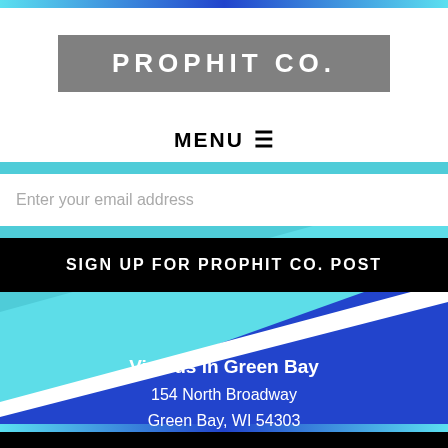PROPHIT CO.
MENU ≡
Enter your email address
SIGN UP FOR PROPHIT CO. POST
[Figure (illustration): Abstract geometric background with blue, teal, and white diagonal shapes forming a layered triangular composition]
Visit us in Green Bay
154 North Broadway
Green Bay, WI 54303